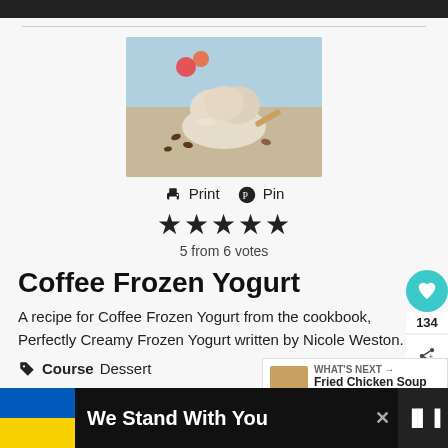[Figure (photo): Scoops of coffee frozen yogurt in a glass bowl with coffee beans and flowers on a light blue wooden surface]
Print  Pin
★★★★★
5 from 6 votes
Coffee Frozen Yogurt
A recipe for Coffee Frozen Yogurt from the cookbook, Perfectly Creamy Frozen Yogurt written by Nicole Weston.
Course  Dessert
We Stand With You